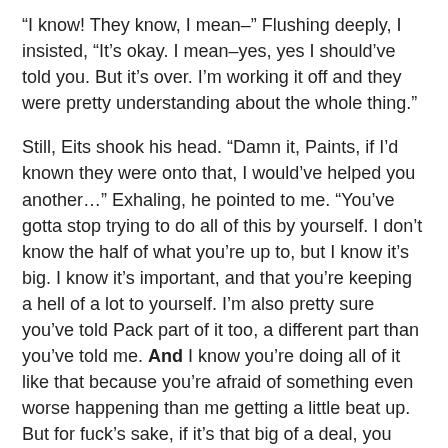“I know! They know, I mean–” Flushing deeply, I insisted, “It’s okay. I mean–yes, yes I should’ve told you. But it’s over. I’m working it off and they were pretty understanding about the whole thing.”
Still, Eits shook his head. “Damn it, Paints, if I’d known they were onto that, I would’ve helped you another…” Exhaling, he pointed to me. “You’ve gotta stop trying to do all of this by yourself. I don’t know the half of what you’re up to, but I know it’s big. I know it’s important, and that you’re keeping a hell of a lot to yourself. I’m also pretty sure you’ve told Pack part of it too, a different part than you’ve told me. And I know you’re doing all of it like that because you’re afraid of something even worse happening than me getting a little beat up. But for fuck’s sake, if it’s that big of a deal, you can’t do it alone.”